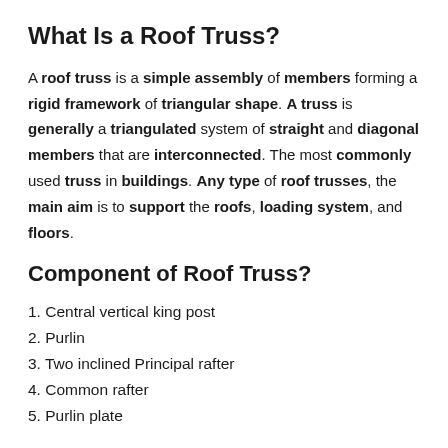What Is a Roof Truss?
A roof truss is a simple assembly of members forming a rigid framework of triangular shape. A truss is generally a triangulated system of straight and diagonal members that are interconnected. The most commonly used truss in buildings. Any type of roof trusses, the main aim is to support the roofs, loading system, and floors.
Component of Roof Truss?
1. Central vertical king post
2. Purlin
3. Two inclined Principal rafter
4. Common rafter
5. Purlin plate...